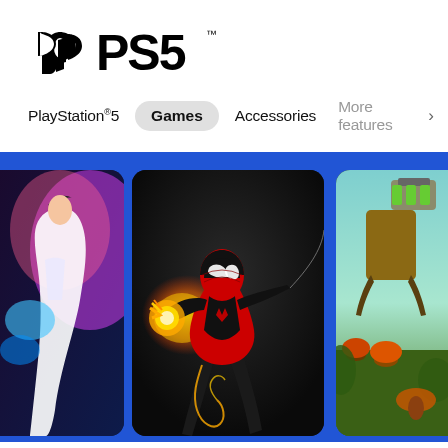[Figure (logo): PlayStation PS5 logo with PlayStation symbol and PS5 text in bold stylized font]
PlayStation®5    Games    Accessories    More features >
[Figure (screenshot): PS5 games carousel on blue background showing three game cards: left card partially visible with anime-style superhero character, center card featuring Marvel's Spider-Man Miles Morales in black and red suit with glowing yellow energy hand, right card partially visible with a character holding a large weapon in a nature setting]